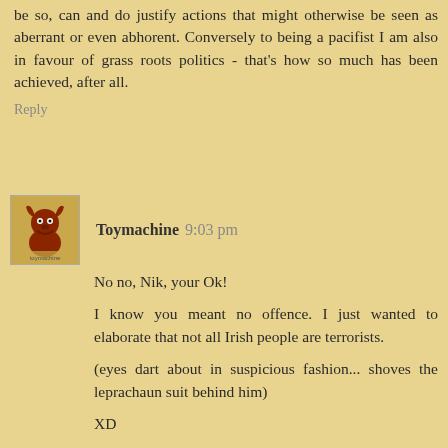be so, can and do justify actions that might otherwise be seen as aberrant or even abhorent. Conversely to being a pacifist I am also in favour of grass roots politics - that's how so much has been achieved, after all.
Reply
[Figure (illustration): Avatar image for user Toymachine showing a red cartoon bull or demon figure with horns]
Toymachine 9:03 pm
No no, Nik, your Ok!

I know you meant no offence. I just wanted to elaborate that not all Irish people are terrorists.

(eyes dart about in suspicious fashion... shoves the leprachaun suit behind him)

XD

+...we are the green. we shall inherit the earth...+
Reply